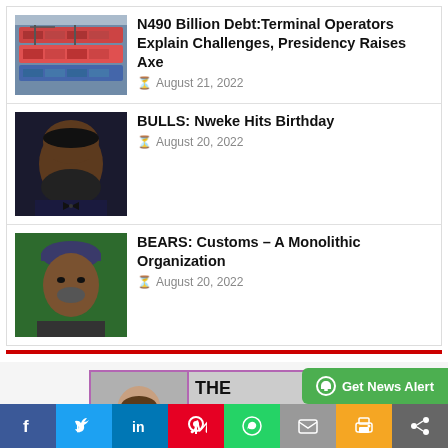[Figure (photo): Thumbnail of shipping containers at a terminal]
N490 Billion Debt:Terminal Operators Explain Challenges, Presidency Raises Axe
August 21, 2022
[Figure (photo): Portrait of a man in a suit]
BULLS: Nweke Hits Birthday
August 20, 2022
[Figure (photo): Portrait of a man in traditional attire]
BEARS: Customs – A Monolithic Organization
August 20, 2022
[Figure (logo): The Sperm newspaper logo with Kingsley Anaroke's photo and contact info]
Get News Alert